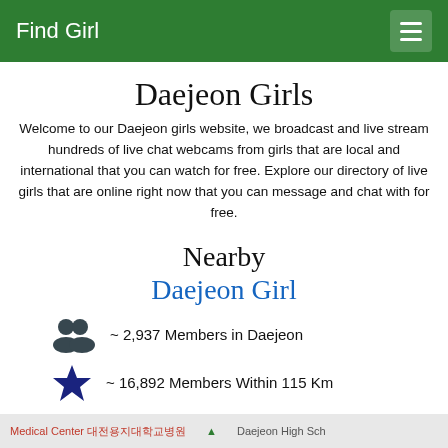Find Girl
Daejeon Girls
Welcome to our Daejeon girls website, we broadcast and live stream hundreds of live chat webcams from girls that are local and international that you can watch for free. Explore our directory of live girls that are online right now that you can message and chat with for free.
Nearby Daejeon Girl
~ 2,937 Members in Daejeon
~ 16,892 Members Within 115 Km